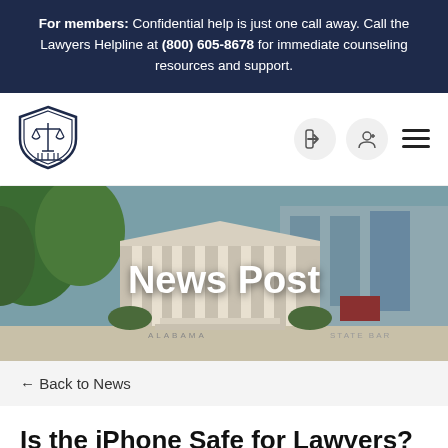For members: Confidential help is just one call away. Call the Lawyers Helpline at (800) 605-8678 for immediate counseling resources and support.
[Figure (logo): Alabama State Bar shield logo with scales of justice]
[Figure (screenshot): Navigation bar icons: login arrow, add-user, hamburger menu]
[Figure (photo): Photograph of the Alabama State Bar building with white columns and the text 'News Post' overlaid in white]
← Back to News
Is the iPhone Safe for Lawyers?